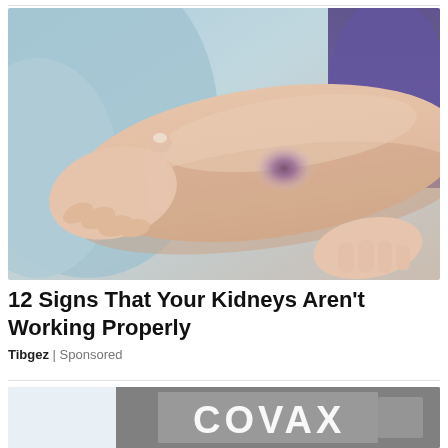[Figure (photo): Close-up photo of a person's arm with a large purplish bruise, with a finger pointing at the bruise. Background shows a person in a light blue top and someone in a purple top.]
12 Signs That Your Kidneys Aren't Working Properly
Tibgez | Sponsored
[Figure (photo): Partial photo showing a person wearing a shirt with 'COVAX' printed on it, partially visible at the bottom of the page.]